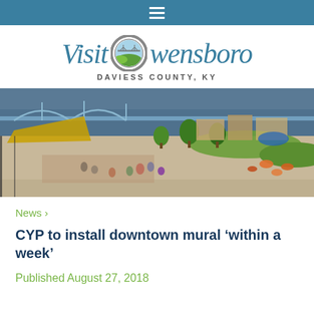≡
[Figure (logo): Visit Owensboro Daviess County KY logo with circular bridge and landscape icon]
[Figure (photo): Aerial view of Owensboro riverfront park with people gathered, bridge in background, trees and outdoor seating]
News ›
CYP to install downtown mural 'within a week'
Published August 27, 2018